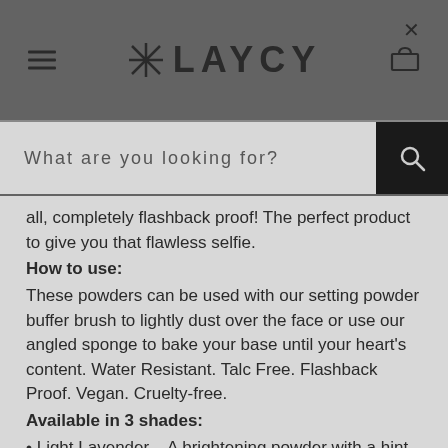✳ LAYCY
What are you looking for?
all, completely flashback proof! The perfect product to give you that flawless selfie.
How to use:
These powders can be used with our setting powder buffer brush to lightly dust over the face or use our angled sponge to bake your base until your heart's content. Water Resistant. Talc Free. Flashback Proof. Vegan. Cruelty-free.
Available in 3 shades:
• Light Lavender – A brightening powder with a hint of purple for some subtle color correcting
• Light Pink – Offers subtle color-correcting, perfect for olive skin tones